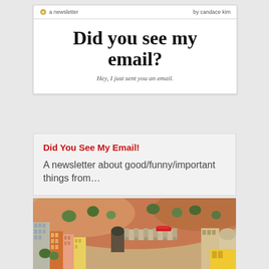a newsletter   by candace kim
Did you see my email?
Hey, I just sent you an email.
Did You See My Email!
A newsletter about good/funny/important things from…
[Figure (photo): Aerial view of a colorful miniature model town with buildings, a stone viaduct/bridge, a red train, and a rocky hillside backdrop with trees]